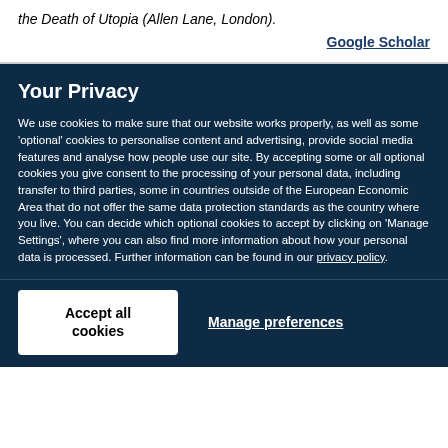the Death of Utopia (Allen Lane, London).
Google Scholar
Your Privacy
We use cookies to make sure that our website works properly, as well as some 'optional' cookies to personalise content and advertising, provide social media features and analyse how people use our site. By accepting some or all optional cookies you give consent to the processing of your personal data, including transfer to third parties, some in countries outside of the European Economic Area that do not offer the same data protection standards as the country where you live. You can decide which optional cookies to accept by clicking on 'Manage Settings', where you can also find more information about how your personal data is processed. Further information can be found in our privacy policy.
Accept all cookies
Manage preferences